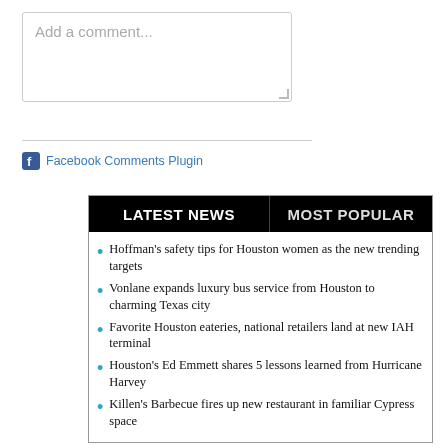Add a comment...
Facebook Comments Plugin
LATEST NEWS  MOST POPULAR
Hoffman's safety tips for Houston women as the new trending targets
Vonlane expands luxury bus service from Houston to charming Texas city
Favorite Houston eateries, national retailers land at new IAH terminal
Houston's Ed Emmett shares 5 lessons learned from Hurricane Harvey
Killen's Barbecue fires up new restaurant in familiar Cypress space